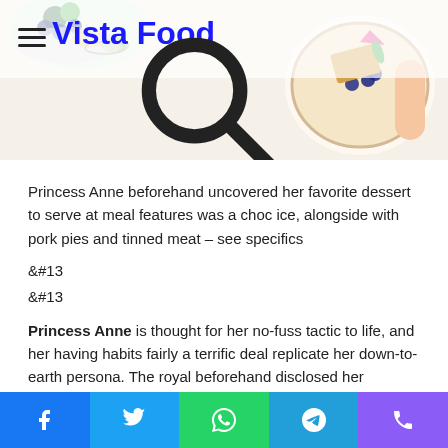[Figure (photo): Food photo header showing blueberries, fruit bowl, and a dish with blueberries and crackers on a white background, with Vista Food logo overlay]
Vista Food
Princess Anne beforehand uncovered her favorite dessert to serve at meal features was a choc ice, alongside with pork pies and tinned meat – see specifics
&#13
&#13
Princess Anne is thought for her no-fuss tactic to life, and her having habits fairly a terrific deal replicate her down-to-earth persona. The royal beforehand disclosed her ridiculously simple dessert hack when she is internet hosting supper